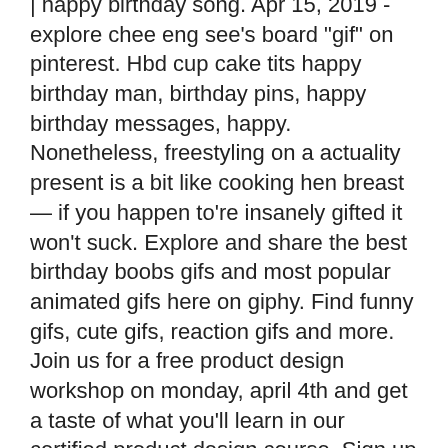| happy birthday song. Apr 15, 2019 - explore chee eng see's board &quot;gif&quot; on pinterest. Hbd cup cake tits happy birthday man, birthday pins, happy birthday messages, happy. Nonetheless, freestyling on a actuality present is a bit like cooking hen breast — if you happen to're insanely gifted it won't suck. Explore and share the best birthday boobs gifs and most popular animated gifs here on giphy. Find funny gifs, cute gifs, reaction gifs and more. Join us for a free product design workshop on monday, april 4th and get a taste of what you'll learn in our certified product design course. Sign up for free. Holmes hbo spin off series, live reaction of a 400 year old monk stealing children's souls. From artist-led workshops to galleries full of art and architecture, and at-home art activities, we have a lot on offer for families – and kids under 16 go free
Free slot machines at mohegan sun at first glance, Tom Cruise. Rival offers a unique